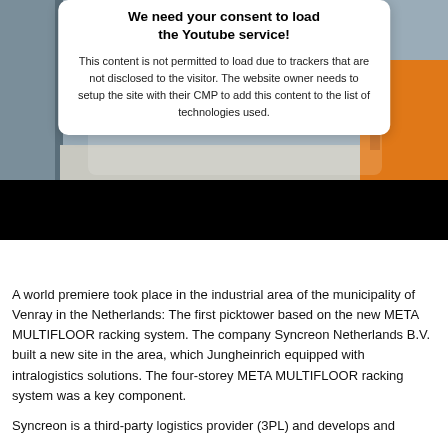[Figure (screenshot): A YouTube consent overlay on top of a warehouse/logistics photo. The overlay box reads 'We need your consent to load the Youtube service!' with body text about trackers. Below the overlay is a black bar (video player placeholder). The background shows industrial shelving and orange equipment.]
A world premiere took place in the industrial area of the municipality of Venray in the Netherlands: The first picktower based on the new META MULTIFLOOR racking system. The company Syncreon Netherlands B.V. built a new site in the area, which Jungheinrich equipped with intralogistics solutions. The four-storey META MULTIFLOOR racking system was a key component.
Syncreon is a third-party logistics provider (3PL) and develops and